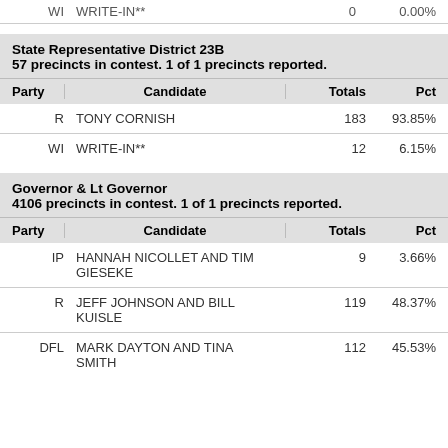| Party | Candidate | Totals | Pct |
| --- | --- | --- | --- |
| WI | WRITE-IN** | 0 | 0.00% |
State Representative District 23B
57 precincts in contest. 1 of 1 precincts reported.
| Party | Candidate | Totals | Pct |
| --- | --- | --- | --- |
| R | TONY CORNISH | 183 | 93.85% |
| WI | WRITE-IN** | 12 | 6.15% |
Governor & Lt Governor
4106 precincts in contest. 1 of 1 precincts reported.
| Party | Candidate | Totals | Pct |
| --- | --- | --- | --- |
| IP | HANNAH NICOLLET AND TIM GIESEKE | 9 | 3.66% |
| R | JEFF JOHNSON AND BILL KUISLE | 119 | 48.37% |
| DFL | MARK DAYTON AND TINA SMITH | 112 | 45.53% |